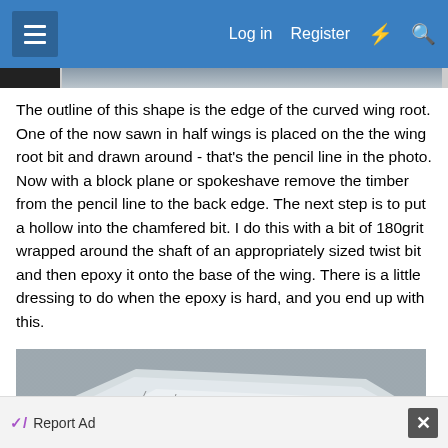Log in  Register
The outline of this shape is the edge of the curved wing root. One of the now sawn in half wings is placed on the the wing root bit and drawn around - that's the pencil line in the photo. Now with a block plane or spokeshave remove the timber from the pencil line to the back edge. The next step is to put a hollow into the chamfered bit. I do this with a bit of 180grit wrapped around the shaft of an appropriately sized twist bit and then epoxy it onto the base of the wing. There is a little dressing to do when the epoxy is hard, and you end up with this.
[Figure (photo): Photo of a white foam or balsa wing piece lying on a gray carpeted surface, showing pencil lines drawn on it indicating shaping lines for the wing root.]
Report Ad